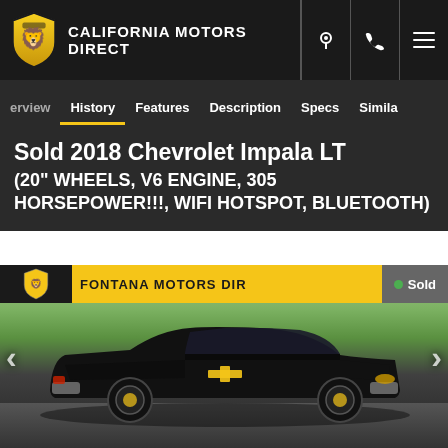CALIFORNIA MOTORS DIRECT
erview  History  Features  Description  Specs  Similar
Sold 2018 Chevrolet Impala LT (20" WHEELS, V6 ENGINE, 305 HORSEPOWER!!!, WIFI HOTSPOT, BLUETOOTH)
[Figure (photo): Black 2018 Chevrolet Impala LT sedan parked outdoors in front of green hedges. Dealer watermark overlay at top reads 'FONTANA MOTORS DIRECT' with a yellow banner and shield logo. A 'Sold' badge is shown in the top right of the image. Left and right navigation arrows are visible on the sides of the image.]